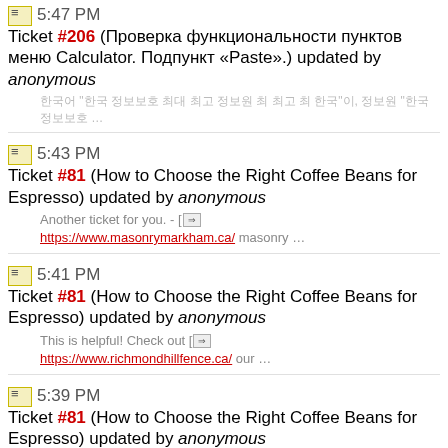5:47 PM Ticket #206 (Проверка функциональности пунктов меню Calculator. Подпункт «Paste».) updated by anonymous — preview in Korean
5:43 PM Ticket #81 (How to Choose the Right Coffee Beans for Espresso) updated by anonymous — Another ticket for you. - [→ https://www.masonrymarkham.ca/ masonry …
5:41 PM Ticket #81 (How to Choose the Right Coffee Beans for Espresso) updated by anonymous — This is helpful! Check out [→ https://www.richmondhillfence.ca/ our …
5:39 PM Ticket #81 (How to Choose the Right Coffee Beans for Espresso) updated by anonymous — → https://www.markhamfence.ca says thanks.
5:38 PM Ticket #80 (test bug #1) updated by Do my assignment for me UK — [url=→ https://royalukessaywriters.co.uk/write-my-assignment/]Do my …
5:37 PM Ticket #81 (How to Choose the Right Coffee Beans for Espresso) — partial